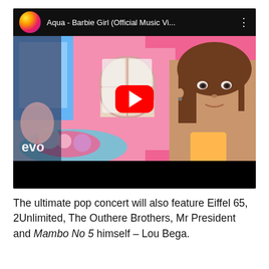[Figure (screenshot): YouTube video thumbnail screenshot showing Aqua - Barbie Girl (Official Music Vi... with a red play button overlay. The thumbnail shows a woman with brown hair in what appears to be a Barbie-themed music video set with pink background. The vevo watermark is visible in the lower left. There is a black bar at the bottom of the video player.]
The ultimate pop concert will also feature Eiffel 65, 2Unlimited, The Outhere Brothers, Mr President and Mambo No 5 himself – Lou Bega.